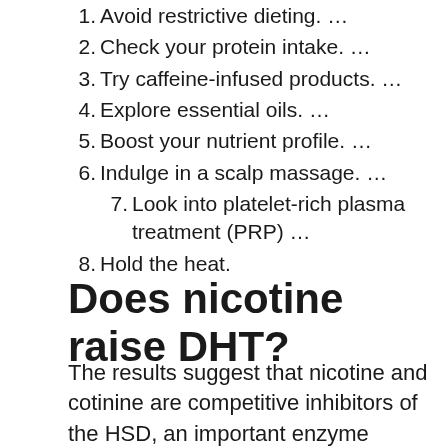1. Avoid restrictive dieting. …
2. Check your protein intake. …
3. Try caffeine-infused products. …
4. Explore essential oils. …
5. Boost your nutrient profile. …
6. Indulge in a scalp massage. …
7. Look into platelet-rich plasma treatment (PRP) …
8. Hold the heat.
Does nicotine raise DHT?
The results suggest that nicotine and cotinine are competitive inhibitors of the HSD, an important enzyme involved in the metabolism of DHT and produce an accumulation of DHT. These products of cigarette smoking could alter androgen